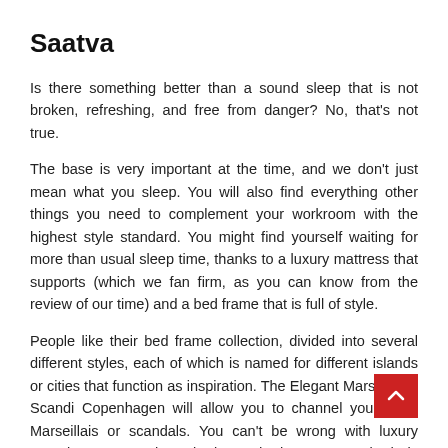Saatva
Is there something better than a sound sleep that is not broken, refreshing, and free from danger? No, that's not true.
The base is very important at the time, and we don't just mean what you sleep. You will also find everything other things you need to complement your workroom with the highest style standard. You might find yourself waiting for more than usual sleep time, thanks to a luxury mattress that supports (which we fan firm, as you can know from the review of our time) and a bed frame that is full of style.
People like their bed frame collection, divided into several different styles, each of which is named for different islands or cities that function as inspiration. The Elegant Marseille or Scandi Copenhagen will allow you to channel your inner Marseillais or scandals. You can't be wrong with luxury organic cotton when it is and the Sateen bed is embroidered, whatever you decide. You can also look for used furniture stores near me options for used furniture stores.